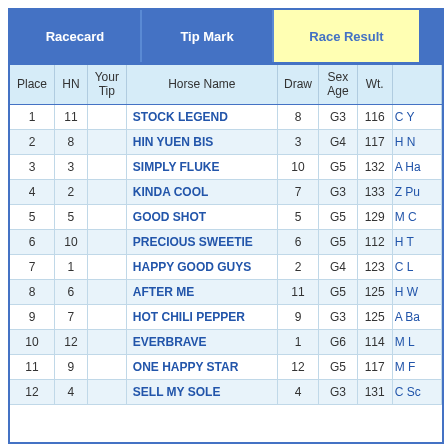| Place | HN | Your Tip | Horse Name | Draw | Sex Age | Wt. |  |
| --- | --- | --- | --- | --- | --- | --- | --- |
| 1 | 11 |  | STOCK LEGEND | 8 | G3 | 116 | C Y |
| 2 | 8 |  | HIN YUEN BIS | 3 | G4 | 117 | H N |
| 3 | 3 |  | SIMPLY FLUKE | 10 | G5 | 132 | A Ha |
| 4 | 2 |  | KINDA COOL | 7 | G3 | 133 | Z Pu |
| 5 | 5 |  | GOOD SHOT | 5 | G5 | 129 | M C |
| 6 | 10 |  | PRECIOUS SWEETIE | 6 | G5 | 112 | H T |
| 7 | 1 |  | HAPPY GOOD GUYS | 2 | G4 | 123 | C L |
| 8 | 6 |  | AFTER ME | 11 | G5 | 125 | H W |
| 9 | 7 |  | HOT CHILI PEPPER | 9 | G3 | 125 | A Ba |
| 10 | 12 |  | EVERBRAVE | 1 | G6 | 114 | M L |
| 11 | 9 |  | ONE HAPPY STAR | 12 | G5 | 117 | M F |
| 12 | 4 |  | SELL MY SOLE | 4 | G3 | 131 | C Sc |